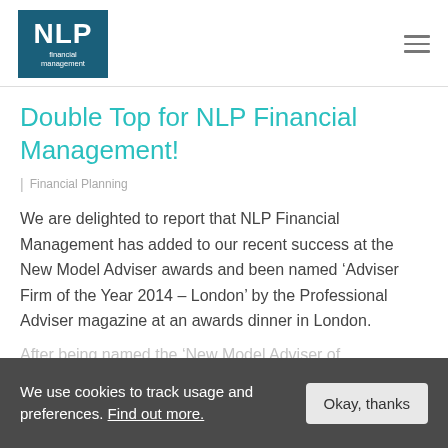[Figure (logo): NLP Financial Management logo — dark teal box with white text 'NLP' large and 'financial management' smaller below]
Double Top for NLP Financial Management!
| Financial Planning
We are delighted to report that NLP Financial Management has added to our recent success at the New Model Adviser awards and been named ‘Adviser Firm of the Year 2014 – London’ by the Professional Adviser magazine at an awards dinner in London.
After being named the ‘New Model Adviser of...
We use cookies to track usage and preferences. Find out more.